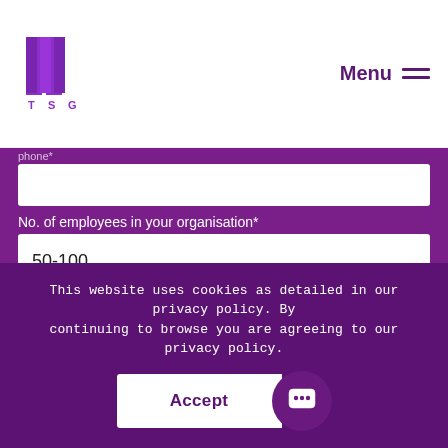[Figure (logo): TSG Technology Services Group logo with purple vertical bars and T S G letters]
Menu
No. of employees in your organisation*
50-100
What can we help you with?*
This website uses cookies as detailed in our privacy policy. By continuing to browse you are agreeing to our privacy policy.
Accept